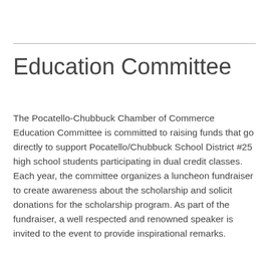Education Committee
The Pocatello-Chubbuck Chamber of Commerce Education Committee is committed to raising funds that go directly to support Pocatello/Chubbuck School District #25 high school students participating in dual credit classes. Each year, the committee organizes a luncheon fundraiser to create awareness about the scholarship and solicit donations for the scholarship program. As part of the fundraiser, a well respected and renowned speaker is invited to the event to provide inspirational remarks.